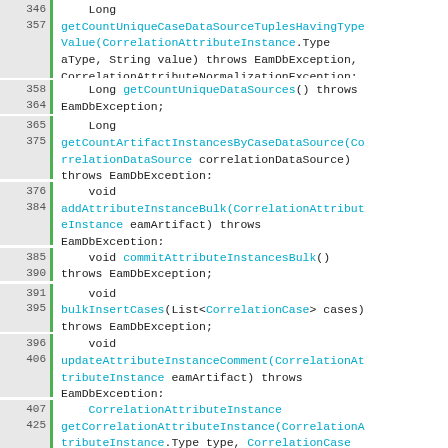346
357    Long getCountUniqueCaseDataSourceTuplesHavingTypeValue(CorrelationAttributeInstance.Type aType, String value) throws EamDbException, CorrelationAttributeNormalizationException;
358
364    Long getCountUniqueDataSources() throws EamDbException;
365
375    Long getCountArtifactInstancesByCaseDataSource(CorrelationDataSource correlationDataSource) throws EamDbException;
376
384    void addAttributeInstanceBulk(CorrelationAttributeInstance eamArtifact) throws EamDbException;
385
390    void commitAttributeInstancesBulk() throws EamDbException;
391
395    void bulkInsertCases(List<CorrelationCase> cases) throws EamDbException;
396
406    void updateAttributeInstanceComment(CorrelationAttributeInstance eamArtifact) throws EamDbException;
407
425    CorrelationAttributeInstance getCorrelationAttributeInstance(CorrelationAttributeInstance.Type type, CorrelationCase